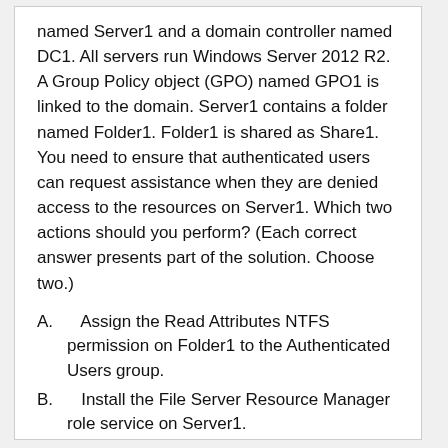named Server1 and a domain controller named DC1. All servers run Windows Server 2012 R2. A Group Policy object (GPO) named GPO1 is linked to the domain. Server1 contains a folder named Folder1. Folder1 is shared as Share1. You need to ensure that authenticated users can request assistance when they are denied access to the resources on Server1. Which two actions should you perform? (Each correct answer presents part of the solution. Choose two.)
A.    Assign the Read Attributes NTFS permission on Folder1 to the Authenticated Users group.
B.    Install the File Server Resource Manager role service on Server1.
C.    Configure the Customize message for Access Denied errors policy setting of GPO1.
D.    Enable the Enable access-denied assistance on client for all file types policy setting for GPO1.
E.    Install the File Server Resource Manager role